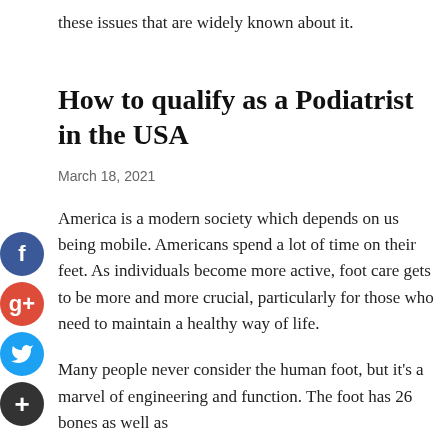these issues that are widely known about it.
How to qualify as a Podiatrist in the USA
March 18, 2021
America is a modern society which depends on us being mobile. Americans spend a lot of time on their feet. As individuals become more active, foot care gets to be more and more crucial, particularly for those who need to maintain a healthy way of life.
Many people never consider the human foot, but it's a marvel of engineering and function. The foot has 26 bones as well as